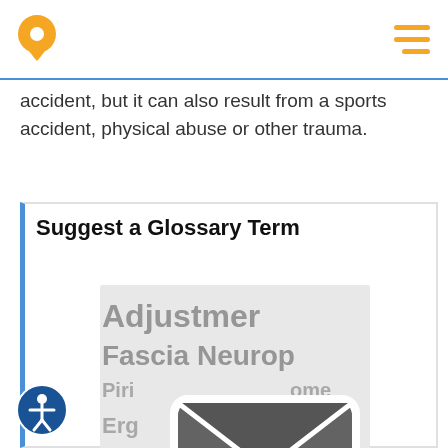accident, but it can also result from a sports accident, physical abuse or other trauma.
Suggest a Glossary Term
[Figure (illustration): Word cloud of medical/chiropractic terms (Adjustment, Fascia, Neuropathy, Piriformis, Ergonomics, Scoliosis, Carpal tunnel syndrome, Hyperkyphosis) overlaid with a large envelope/mail icon in the center, all in grayscale.]